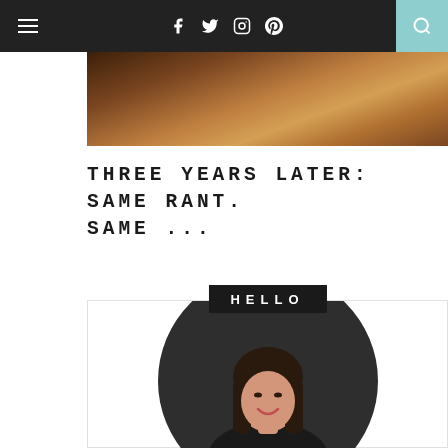Navigation bar with hamburger menu, social icons (Facebook, Twitter, Instagram, Pinterest), and search
[Figure (photo): Hero image showing a room with wooden furniture and warm golden/brown tones, cropped at top]
THREE YEARS LATER: SAME RANT. SAME ...
[Figure (photo): Blog sidebar section with HELLO label and a portrait photo of an Asian woman smiling, with dark circular background behind her]